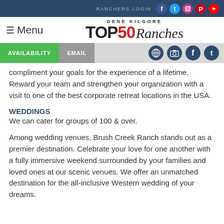RANCHERS LOGIN
[Figure (logo): Gene Kilgore TOP50 Ranches logo with menu button]
AVAILABILITY | EMAIL
compliment your goals for the experience of a lifetime. Reward your team and strengthen your organization with a visit to one of the best corporate retreat locations in the USA.
WEDDINGS
We can cater for groups of 100 & over.
Among wedding venues, Brush Creek Ranch stands out as a premier destination. Celebrate your love for one another with a fully immersive weekend surrounded by your families and loved ones at our scenic venues. We offer an unmatched destination for the all-inclusive Western wedding of your dreams.